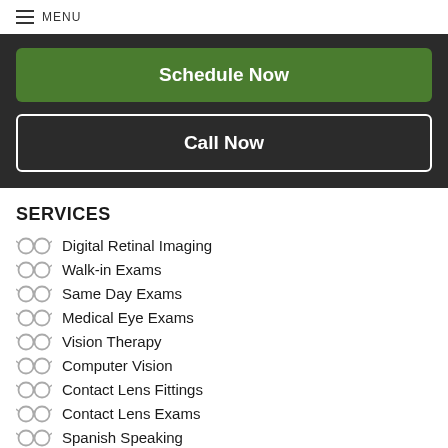MENU
Schedule Now
Call Now
SERVICES
Digital Retinal Imaging
Walk-in Exams
Same Day Exams
Medical Eye Exams
Vision Therapy
Computer Vision
Contact Lens Fittings
Contact Lens Exams
Spanish Speaking